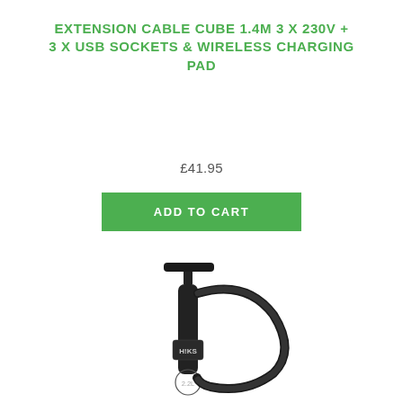EXTENSION CABLE CUBE 1.4M 3 X 230V + 3 X USB SOCKETS & WIRELESS CHARGING PAD
£41.95
ADD TO CART
[Figure (photo): A black HIKS branded hand pump with a flexible hose, showing the pump body with a T-bar handle at the top and a coiled black hose on the right side. The pump body shows the HIKS logo and a 2.2L marking.]